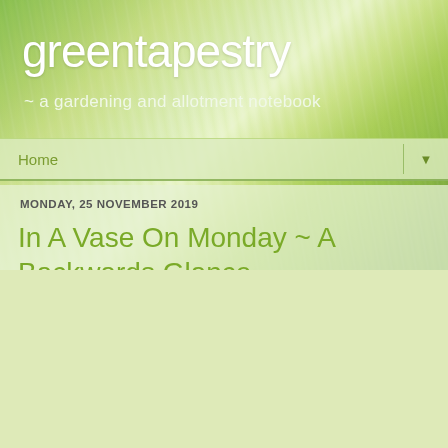[Figure (photo): Green wheat/grass field background for blog header]
greentapestry
~ a gardening and allotment notebook
Home ▼
MONDAY, 25 NOVEMBER 2019
In A Vase On Monday ~ A Backwards Glance